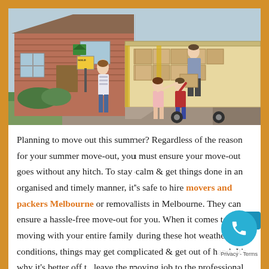[Figure (photo): A family unloading moving boxes from a large truck in front of a brick house with a 'Sold' sign. A man on the truck hands boxes down to children and a woman standing outside.]
Planning to move out this summer? Regardless of the reason for your summer move-out, you must ensure your move-out goes without any hitch. To stay calm & get things done in an organised and timely manner, it's safe to hire movers and packers Melbourne or removalists in Melbourne. They can ensure a hassle-free move-out for you. When it comes to moving with your entire family during these hot weather conditions, things may get complicated & get out of hand. It's why it's better off to leave the moving job to the professional movers and